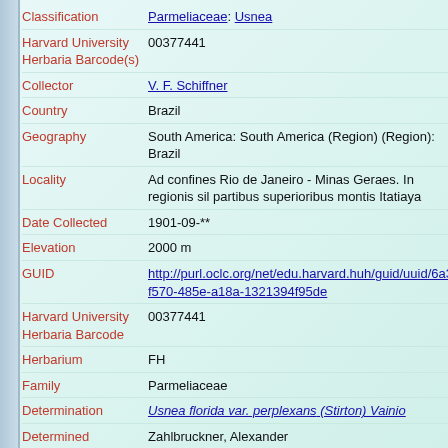| Field | Value |
| --- | --- |
| Classification | Parmeliaceae: Usnea |
| Harvard University Herbaria Barcode(s) | 00377441 |
| Collector | V. F. Schiffner |
| Country | Brazil |
| Geography | South America: South America (Region) (Region): Brazil |
| Locality | Ad confines Rio de Janeiro - Minas Geraes. In regionis sil partibus superioribus montis Itatiaya |
| Date Collected | 1901-09-** |
| Elevation | 2000 m |
| GUID | http://purl.oclc.org/net/edu.harvard.huh/guid/uuid/6a3 f570-485e-a18a-1321394f95de |
| Harvard University Herbaria Barcode | 00377441 |
| Herbarium | FH |
| Family | Parmeliaceae |
| Determination | Usnea florida var. perplexans (Stirton) Vainio |
| Determined | Zahlbruckner, Alexander |